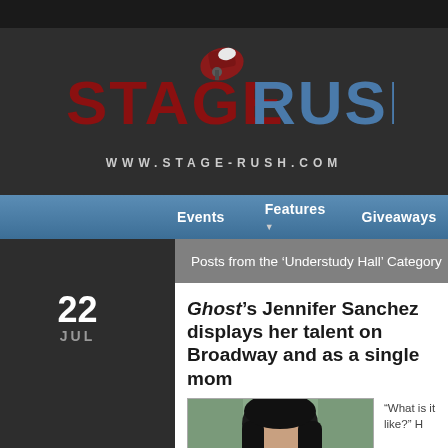[Figure (logo): StageRush logo with spotlight icon above the text. 'STAGE' in dark red/maroon, 'RUSH' in steel blue, with a spotlight lamp graphic above the letter A.]
WWW.STAGE-RUSH.COM
Events   Features   Giveaways   News
Posts from the ‘Understudy Hall’ Category
22
JUL
Ghost’s Jennifer Sanchez displays her talent on Broadway and as a single mom
“What is it like?” h